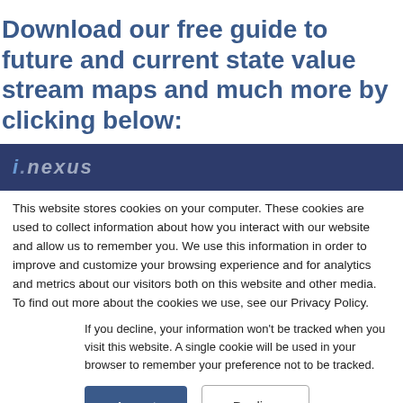Download our free guide to future and current state value stream maps and much more by clicking below:
[Figure (logo): i-nexus logo on dark navy blue bar]
This website stores cookies on your computer. These cookies are used to collect information about how you interact with our website and allow us to remember you. We use this information in order to improve and customize your browsing experience and for analytics and metrics about our visitors both on this website and other media. To find out more about the cookies we use, see our Privacy Policy.
If you decline, your information won't be tracked when you visit this website. A single cookie will be used in your browser to remember your preference not to be tracked.